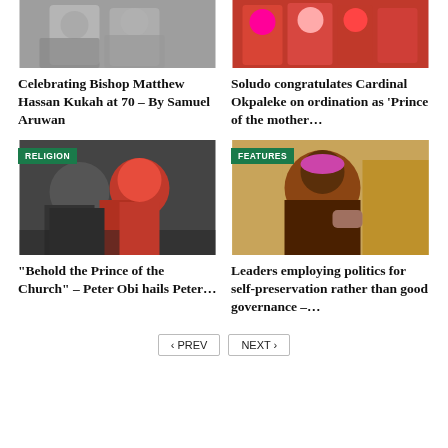[Figure (photo): Photo of Bishop Matthew Hassan Kukah with others, grayscale/muted tones]
[Figure (photo): Photo of people in red traditional attire]
Celebrating Bishop Matthew Hassan Kukah at 70 – By Samuel Aruwan
Soludo congratulates Cardinal Okpaleke on ordination as ‘Prince of the mother…
[Figure (photo): Photo of Peter Obi and Cardinal in red robes, RELIGION badge]
[Figure (photo): Photo of a bishop in pink zucchetto gesturing, FEATURES badge]
“Behold the Prince of the Church” – Peter Obi hails Peter…
Leaders employing politics for self-preservation rather than good governance –…
‹ PREV   NEXT ›